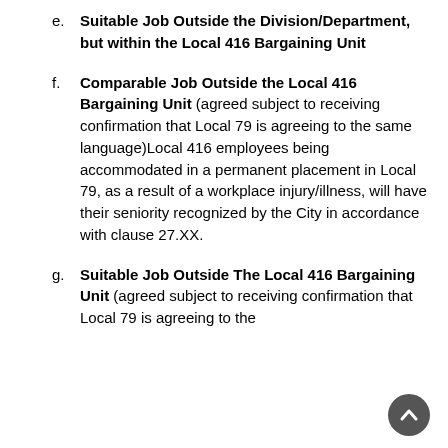e. Suitable Job Outside the Division/Department, but within the Local 416 Bargaining Unit
f. Comparable Job Outside the Local 416 Bargaining Unit (agreed subject to receiving confirmation that Local 79 is agreeing to the same language)Local 416 employees being accommodated in a permanent placement in Local 79, as a result of a workplace injury/illness, will have their seniority recognized by the City in accordance with clause 27.XX.
g. Suitable Job Outside The Local 416 Bargaining Unit (agreed subject to receiving confirmation that Local 79 is agreeing to the